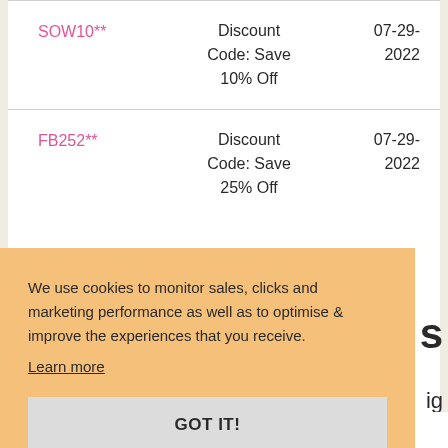| Code | Description | Date |
| --- | --- | --- |
| SOW10** | Discount Code: Save 10% Off | 07-29-2022 |
| FB252** | Discount Code: Save 25% Off | 07-29-2022 |
We use cookies to monitor sales, clicks and marketing performance as well as to optimise & improve the experiences that you receive.
Learn more
GOT IT!
work with some of the biggest names in